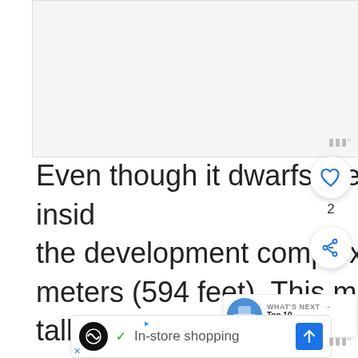[Figure (photo): Large image area (partially visible/blank) at top of page]
Even though it dwarfs the other apartments inside the development complex, it only stands 181 meters (594 feet). This means it looks a lot taller than it actually is. Regardless, it's the tallest residential building in the United Kingdom and has been since its completion in 2014.
[Figure (screenshot): Advertisement bar at bottom: In-store shopping ad with icons]